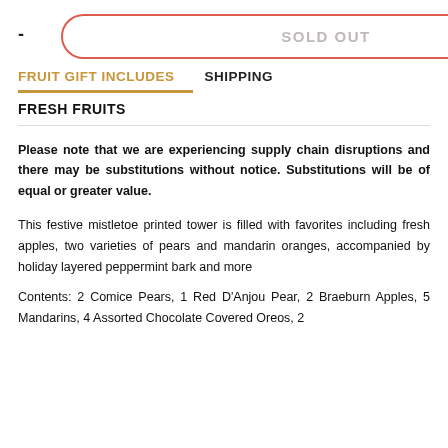SOLD OUT
FRUIT GIFT INCLUDES   SHIPPING
FRESH FRUITS
Please note that we are experiencing supply chain disruptions and there may be substitutions without notice. Substitutions will be of equal or greater value.
This festive mistletoe printed tower is filled with favorites including fresh apples, two varieties of pears and mandarin oranges, accompanied by holiday layered peppermint bark and more
Contents: 2 Comice Pears, 1 Red D'Anjou Pear, 2 Braeburn Apples, 5 Mandarins, 4 Assorted Chocolate Covered Oreos, 2